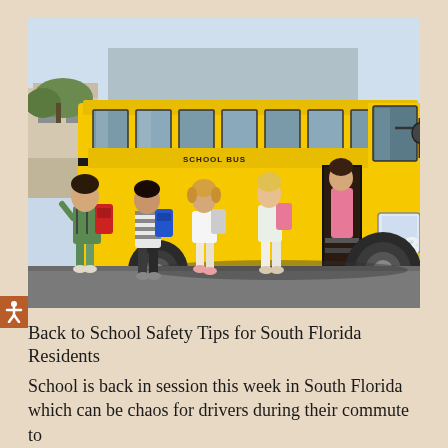[Figure (photo): Children with backpacks boarding a yellow school bus numbered 113. Several kids are walking toward the open bus door, and a figure can be seen through the bus windows. The bus is parked in a parking lot with a building visible in the background.]
Back to School Safety Tips for South Florida Residents
School is back in session this week in South Florida which can be chaos for drivers during their commute to